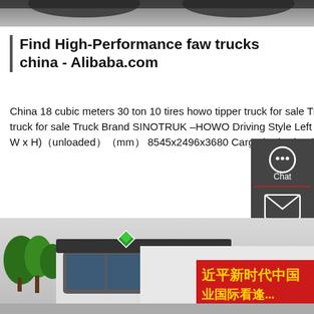[Figure (photo): Top portion of a vehicle or truck (bottom of wheels/undercarriage visible), cropped at top of page.]
Find High-Performance faw trucks china - Alibaba.com
China 18 cubic meters 30 ton 10 tires howo tipper truck for sale Truck Model China 18 cubic meters 30 ton 10 tires howo tipper truck for sale Truck Brand SINOTRUK –HOWO Driving Style Left Hand Driving Color According to your requirement Dimension(Lx W x H)（unloaded）（mm） 8545x2496x3680 Cargo body size (L*W*H, mm) (mm) …
[Figure (other): Sidebar UI widget with dark grey background showing Chat, Email, Contact, and Top navigation icons.]
Get a Quote
[Figure (photo): Photo of a white FAW truck cab with trees in background and a red Chinese banner with yellow text reading 近平新时代中国 ... 业国际看逢...]